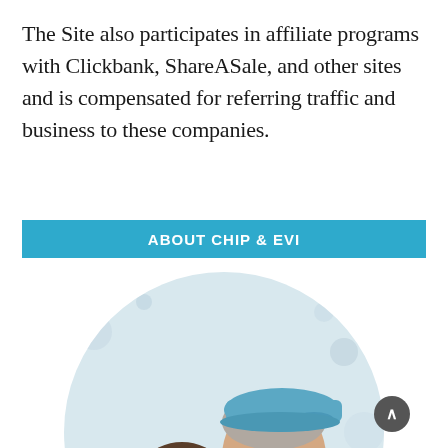The Site also participates in affiliate programs with Clickbank, ShareASale, and other sites and is compensated for referring traffic and business to these companies.
ABOUT CHIP & EVI
[Figure (photo): Circular cropped photo of two people (Chip and Evi), a woman with curly brown hair and a man wearing a blue cap and glasses, smiling outdoors with a blurred background.]